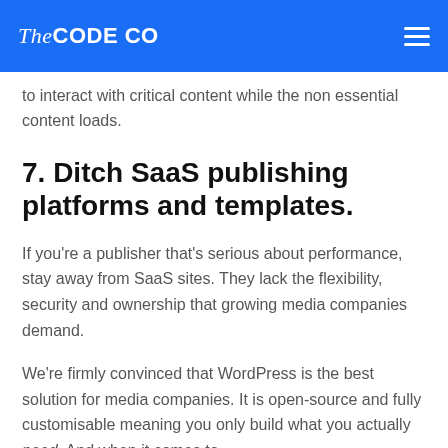The CODE CO
to interact with critical content while the non essential content loads.
7. Ditch SaaS publishing platforms and templates.
If you're a publisher that's serious about performance, stay away from SaaS sites. They lack the flexibility, security and ownership that growing media companies demand.
We're firmly convinced that WordPress is the best solution for media companies. It is open-source and fully customisable meaning you only build what you actually need. And when it comes to